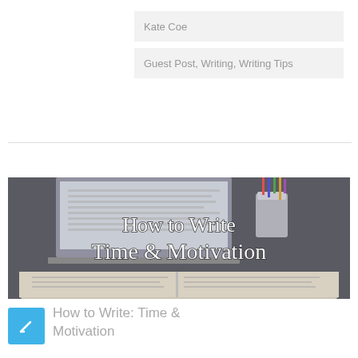Kate Coe
Guest Post, Writing, Writing Tips
[Figure (photo): Photo of an open book and laptop on a desk with text overlay reading 'How to Write Time & Motivation']
How to Write: Time & Motivation